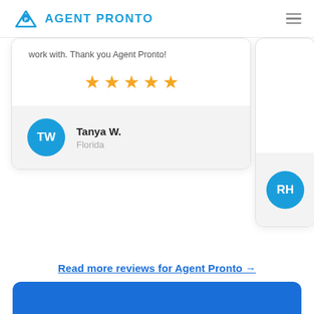[Figure (logo): Agent Pronto logo with blue house/triangle icon and blue uppercase text AGENT PRONTO]
work with. Thank you Agent Pronto!
[Figure (other): 5 gold star rating icons]
TW
Tanya W.
Florida
[Figure (other): Partial review card with RH avatar visible on the right edge]
Read more reviews for Agent Pronto →
[Figure (other): Blue rounded button bar at the bottom of the page]